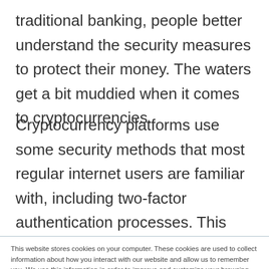traditional banking, people better understand the security measures to protect their money. The waters get a bit muddied when it comes to cryptocurrencies.
Cryptocurrency platforms use some security methods that most regular internet users are familiar with, including two-factor authentication processes. This familiarity may contribute
This website stores cookies on your computer. These cookies are used to collect information about how you interact with our website and allow us to remember you. We use this information in order to improve and customize your browsing experience and for analytics and metrics about our visitors both on this website and other media. To find out more about the cookies we use, see our Privacy Policy. California residents have the right to direct us not to sell their personal information to third parties by filing an Opt-Out Request: Do Not Sell My Personal Info.
Accept